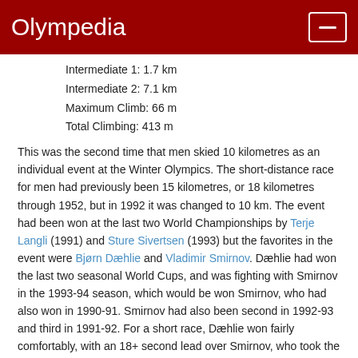Olympedia
Intermediate 1: 1.7 km
Intermediate 2: 7.1 km
Maximum Climb: 66 m
Total Climbing: 413 m
This was the second time that men skied 10 kilometres as an individual event at the Winter Olympics. The short-distance race for men had previously been 15 kilometres, or 18 kilometres through 1952, but in 1992 it was changed to 10 km. The event had been won at the last two World Championships by Terje Langli (1991) and Sture Sivertsen (1993) but the favorites in the event were Bjørn Dæhlie and Vladimir Smirnov. Dæhlie had won the last two seasonal World Cups, and was fighting with Smirnov in the 1993-94 season, which would be won Smirnov, who had also won in 1990-91. Smirnov had also been second in 1992-93 and third in 1991-92. For a short race, Dæhlie won fairly comfortably, with an 18+ second lead over Smirnov, who took the silver medal. Smirnov started slowly, trailing the pace of Marco Albarello but had moved to second at the second checkpoint.
Albarello hung on for the bronze medal. He had won two silvers in Albertville and would add a gold in the relay in Lillehammer.